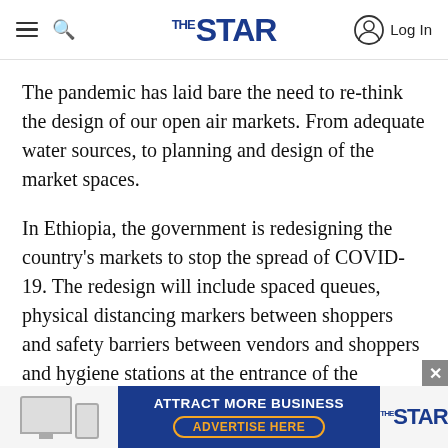THE STAR — navigation header with hamburger menu, search, logo, and Log In
The pandemic has laid bare the need to re-think the design of our open air markets. From adequate water sources, to planning and design of the market spaces.
In Ethiopia, the government is redesigning the country's markets to stop the spread of COVID-19. The redesign will include spaced queues, physical distancing markers between shoppers and safety barriers between vendors and shoppers and hygiene stations at the entrance of the markets. Local streets adjacent to the markets are being used as an
[Figure (screenshot): Advertisement banner for The Star newspaper: blue background with device illustrations on left, 'ATTRACT MORE BUSINESS' text and 'ADVERTISE HERE' button in center, The Star logo on right.]